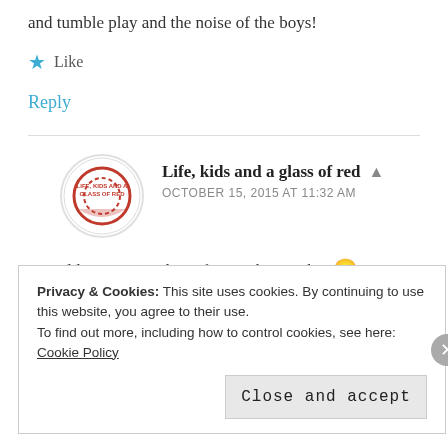and tumble play and the noise of the boys!
★ Like
Reply
Life, kids and a glass of red
OCTOBER 15, 2015 AT 11:32 AM
I wouldn't swap my boys for anything either 🙂
Privacy & Cookies: This site uses cookies. By continuing to use this website, you agree to their use.
To find out more, including how to control cookies, see here: Cookie Policy
Close and accept